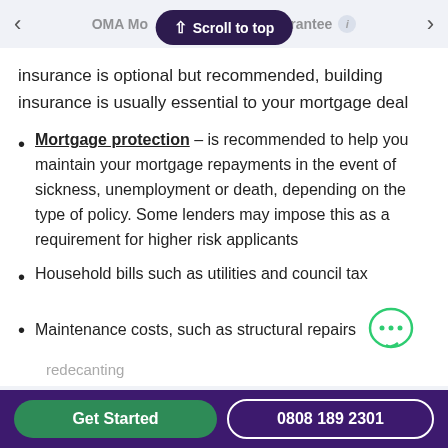OMA Mortgage Guarantee
insurance is optional but recommended, building insurance is usually essential to your mortgage deal
Mortgage protection – is recommended to help you maintain your mortgage repayments in the event of sickness, unemployment or death, depending on the type of policy. Some lenders may impose this as a requirement for higher risk applicants
Household bills such as utilities and council tax
Maintenance costs, such as structural repairs
Get Started  0808 189 2301